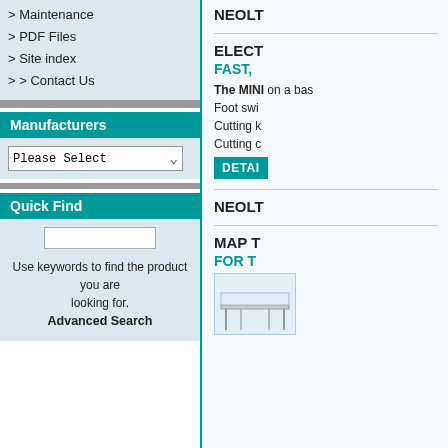> Maintenance
> PDF Files
> Site index
> > Contact Us
Manufacturers
Please Select
Quick Find
Use keywords to find the product you are looking for. Advanced Search
NEOLT
ELECT
FAST,
The MINI on a base Foot swi Cutting k Cutting c
DETAI
NEOLT
MAP T
FOR T
[Figure (photo): Partial product image at bottom right]